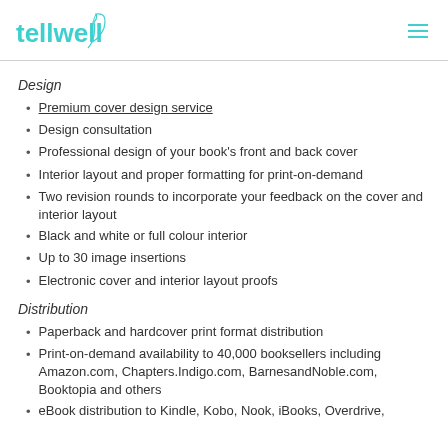tellwell (logo with hamburger menu)
Design
Premium cover design service
Design consultation
Professional design of your book's front and back cover
Interior layout and proper formatting for print-on-demand
Two revision rounds to incorporate your feedback on the cover and interior layout
Black and white or full colour interior
Up to 30 image insertions
Electronic cover and interior layout proofs
Distribution
Paperback and hardcover print format distribution
Print-on-demand availability to 40,000 booksellers including Amazon.com, Chapters.Indigo.com, BarnesandNoble.com, Booktopia and others
eBook distribution to Kindle, Kobo, Nook, iBooks, Overdrive,